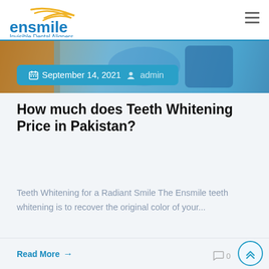[Figure (logo): Ensmile logo with yellow swoosh lines and blue text reading 'ensmile' with tagline 'Invisible Dental Aligners']
[Figure (photo): Close-up photo of dental equipment or teeth with blue gloves visible]
September 14, 2021  admin
How much does Teeth Whitening Price in Pakistan?
Teeth Whitening for a Radiant Smile The Ensmile teeth whitening is to recover the original color of your...
Read More →
0